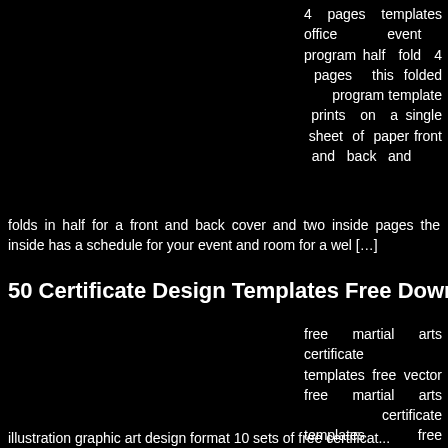4 pages templates office event program half fold 4 pages this folded program template prints on a single sheet of paper front and back and folds in half for a front and back cover and two inside pages the inside has a schedule for your event and room for a wel […]
50 Certificate Design Templates Free Download
free martial arts certificate templates free vector free martial arts certificate templates free vector we have about 220 700 files free vector in ai eps cdr svg vector illustration graphic art design format 10 sets of free certificat...